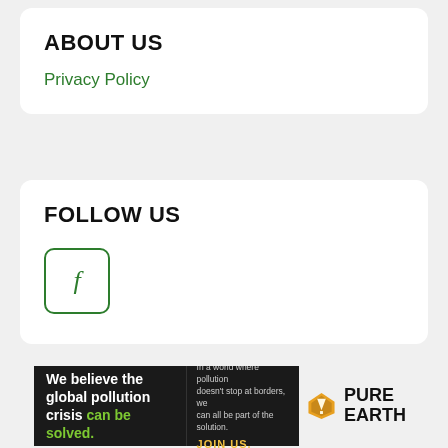ABOUT US
Privacy Policy
FOLLOW US
[Figure (logo): Facebook icon button with green border and green 'f' letter]
[Figure (infographic): Pure Earth advertisement banner: 'We believe the global pollution crisis can be solved.' with Pure Earth logo]